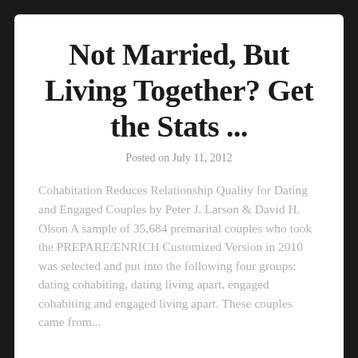Not Married, But Living Together? Get the Stats ...
Posted on July 11, 2012
Cohabitation Reduces Relationship Quality for Dating and Engaged Couples by Peter J. Larson & David H. Olson A sample of 35,684 premarital couples who took the PREPARE/ENRICH Customized Version in 2010 was selected and put into the following four groups: dating cohabiting, dating living apart, engaged cohabiting and engaged living apart. These couples came from...